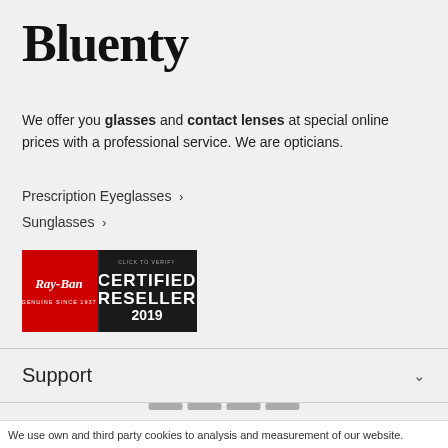Bluenty
We offer you glasses and contact lenses at special online prices with a professional service. We are opticians.
Prescription Eyeglasses >
Sunglasses >
[Figure (logo): Ray-Ban Certified Reseller 2019 badge — black background with Ray-Ban logo in red and white script, plus text CERTIFIED RESELLER 2019]
Support
About us
Customer Support
We use own and third party cookies to analysis and measurement of our website.